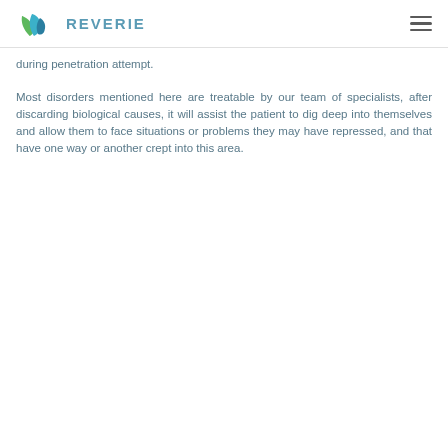REVERIE
during penetration attempt.
Most disorders mentioned here are treatable by our team of specialists, after discarding biological causes, it will assist the patient to dig deep into themselves and allow them to face situations or problems they may have repressed, and that have one way or another crept into this area.